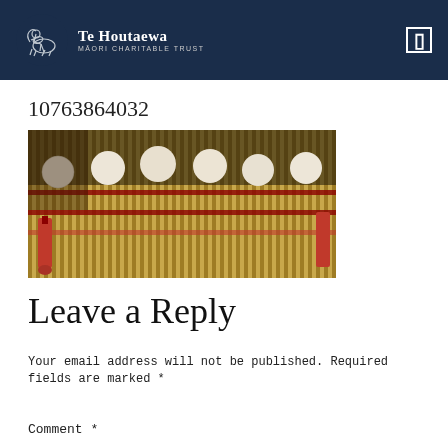Te Houtaewa MĀORI CHARITABLE TRUST
10763864032
[Figure (photo): Close-up photograph of Māori woven items with white pompoms and red tassels on a woven flax mat background.]
Leave a Reply
Your email address will not be published. Required fields are marked *
Comment *